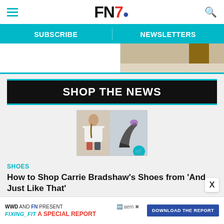FN (Footwear News) website header with hamburger menu, FN logo, and search icon
SUBSCRIBE | NEWSLETTERS
[Figure (photo): Partial image strip showing interior/store scene with door and floor]
SHOP THE NEWS
[Figure (photo): Split card image: left shows woman in white top (Carrie Bradshaw style), right shows high heel shoe with teal shopping cart badge]
SHOES
How to Shop Carrie Bradshaw's Shoes from ‘And Just Like That’
WWD AND FN PRESENT FIXING_FIT A SPECIAL REPORT DOWNLOAD THE REPORT